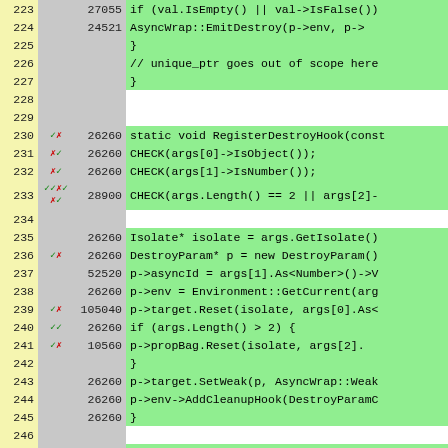[Figure (screenshot): Code coverage viewer showing C++ source lines 223-247 with line numbers, hit markers (green checkmarks, red X), execution counts, and syntax-highlighted code. Green background indicates covered lines, gray indicates uncovered/excluded.]